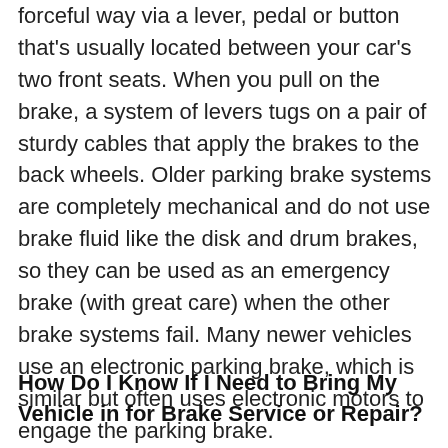forceful way via a lever, pedal or button that's usually located between your car's two front seats. When you pull on the brake, a system of levers tugs on a pair of sturdy cables that apply the brakes to the back wheels. Older parking brake systems are completely mechanical and do not use brake fluid like the disk and drum brakes, so they can be used as an emergency brake (with great care) when the other brake systems fail. Many newer vehicles use an electronic parking brake, which is similar but often uses electronic motors to engage the parking brake.
How Do I Know If I Need to Bring My Vehicle in for Brake Service or Repair?